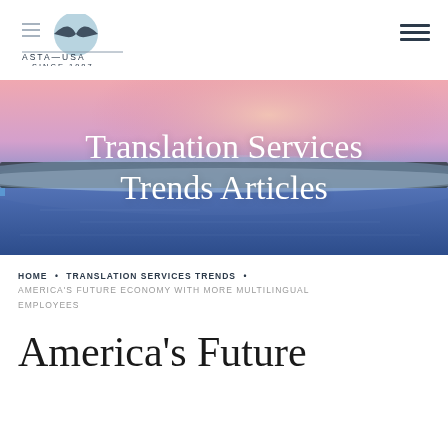ASTA—USA SINCE 1987
[Figure (illustration): Hero banner image of a misty lake at sunrise/sunset with blue and pink hues, trees silhouetted on the horizon, with text 'Translation Services Trends Articles' overlaid in white serif font]
Translation Services Trends Articles
HOME • TRANSLATION SERVICES TRENDS • AMERICA'S FUTURE ECONOMY WITH MORE MULTILINGUAL EMPLOYEES
America's Future